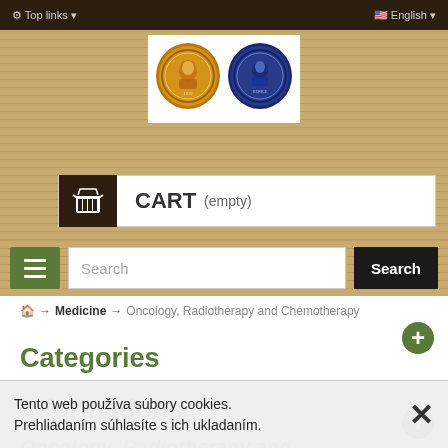Top links  |  English
[Figure (logo): University stamp/logo with two circular medallions: a gold one and a blue one, on a white postage-stamp style background]
CART (empty)
Search
Home → Medicine → Oncology, Radiotherapy and Chemotherapy
Categories
Informations
Oncology, Radiotherapy and
Tento web používa súbory cookies. Prehliadaním súhlasíte s ich ukladaním.